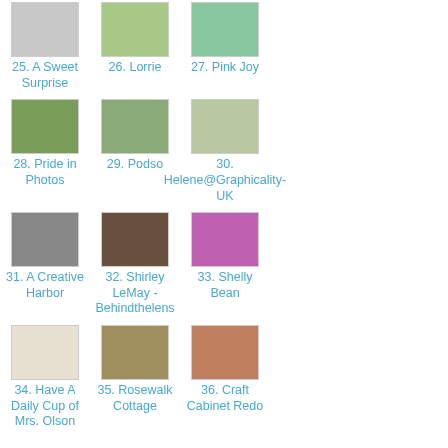25. A Sweet Surprise
26. Lorrie
27. Pink Joy
28. Pride in Photos
29. Podso
30. Helene@Graphicality-UK
31. A Creative Harbor
32. Shirley LeMay - Behindthelens
33. Shelly Bean
34. Have A Daily Cup of Mrs. Olson
35. Rosewalk Cottage
36. Craft Cabinet Redo